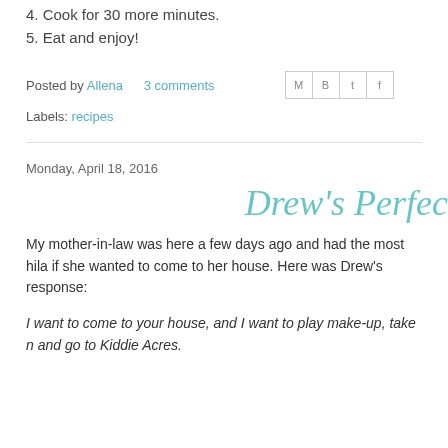4. Cook for 30 more minutes.
5. Eat and enjoy!
Posted by Allena    3 comments
Labels: recipes
Monday, April 18, 2016
Drew's Perfec
My mother-in-law was here a few days ago and had the most hila if she wanted to come to her house. Here was Drew's response:
I want to come to your house, and I want to play make-up, take n and go to Kiddie Acres.